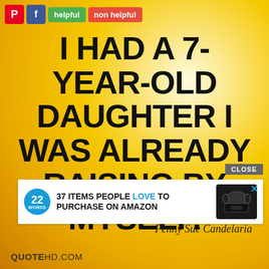[Figure (screenshot): Social media share toolbar with Pinterest (red P icon), Facebook (blue f icon), green 'helpful' button, and red 'non helpful' button]
I HAD A 7-YEAR-OLD DAUGHTER I WAS ALREADY RAISING BY MYSELF.
[Figure (infographic): Advertisement banner: '22 WORDS' logo circle, text '37 ITEMS PEOPLE LOVE TO PURCHASE ON AMAZON', headphones product image, close button, X button]
Penny Sue Candelaria
QUOTEHD.COM